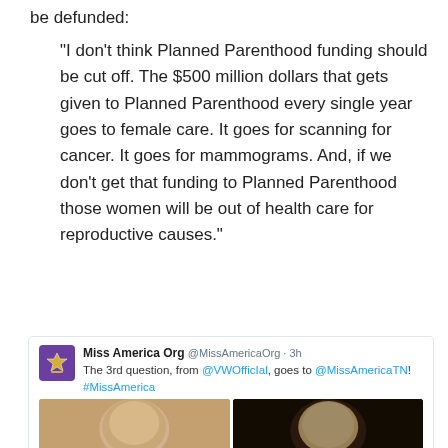be defunded:
“I don’t think Planned Parenthood funding should be cut off. The $500 million dollars that gets given to Planned Parenthood every single year goes to female care. It goes for scanning for cancer. It goes for mammograms. And, if we don’t get that funding to Planned Parenthood those women will be out of health care for reproductive causes.”
[Figure (screenshot): Tweet from Miss America Org (@MissAmericaOrg, 3h): 'The 3rd question, from @VWOfficIal, goes to @MissAmericaTN! #MissAmerica' with two photos of women at the Miss America pageant.]